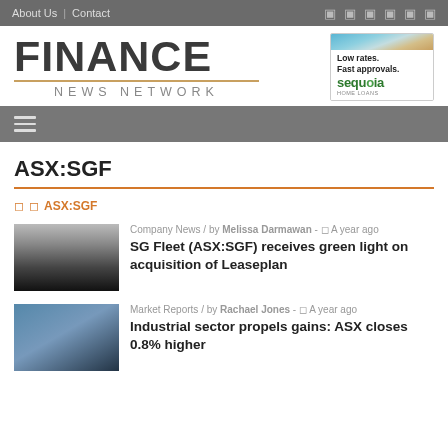About Us | Contact
[Figure (logo): Finance News Network logo with gold underline and News Network subtitle]
[Figure (illustration): Sequoia Home Loans advertisement: Low rates. Fast approvals. sequoia HOME LOANS]
ASX:SGF
ASX:SGF
Company News / by Melissa Darmawan - A year ago
SG Fleet (ASX:SGF) receives green light on acquisition of Leaseplan
Market Reports / by Rachael Jones - A year ago
Industrial sector propels gains: ASX closes 0.8% higher